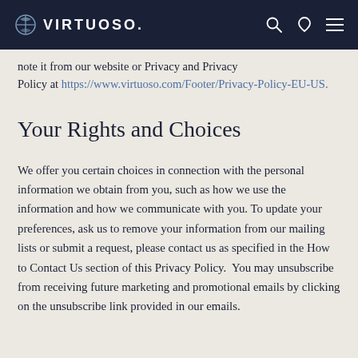VIRTUOSO.
note it from our website or Privacy and Privacy Policy at https://www.virtuoso.com/Footer/Privacy-Policy-EU-US.
Your Rights and Choices
We offer you certain choices in connection with the personal information we obtain from you, such as how we use the information and how we communicate with you. To update your preferences, ask us to remove your information from our mailing lists or submit a request, please contact us as specified in the How to Contact Us section of this Privacy Policy. You may unsubscribe from receiving future marketing and promotional emails by clicking on the unsubscribe link provided in our emails.